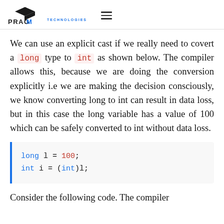PRAGIM TECHNOLOGIES
We can use an explicit cast if we really need to covert a long type to int as shown below. The compiler allows this, because we are doing the conversion explicitly i.e we are making the decision consciously, we know converting long to int can result in data loss, but in this case the long variable has a value of 100 which can be safely converted to int without data loss.
long l = 100;
int i = (int)l;
Consider the following code. The compiler